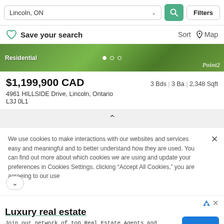Lincoln, ON — Filters
Save your search  Sort  Map
[Figure (photo): Residential property exterior photo with green foliage, showing carousel dots and Point2 logo watermark]
$1,199,900 CAD  3 Bds | 3 Ba | 2,348 Sqft  4961 HILLSIDE Drive, Lincoln, Ontario L3J 0L1
We use cookies to make interactions with our websites and services easy and meaningful and to better understand how they are used. You can find out more about which cookies we are using and update your preferences in Cookies Settings. clicking "Accept All Cookies," you are agreeing to our use
Luxury real estate  Join our network of top Real Estate Agents and Brokers to gain access to premier audiences Luxury Portfolio Int.  Open